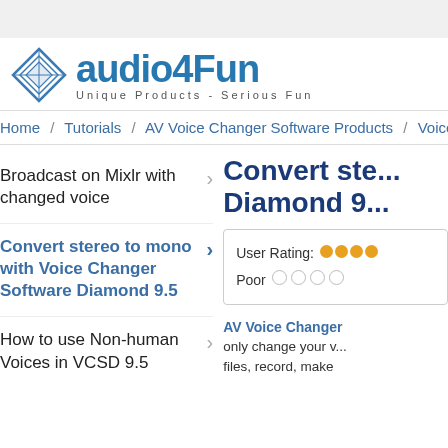[Figure (logo): audio4Fun logo with diamond shape icon and tagline 'Unique Products - Serious Fun']
Home / Tutorials / AV Voice Changer Software Products / Voice
Broadcast on Mixlr with changed voice
Convert stereo to mono with Voice Changer Software Diamond 9.5
How to use Non-human Voices in VCSD 9.5
Convert ste... Diamond 9...
User Rating: ●●●● Poor ○ ○ ○ ○
AV Voice Changer only change your v... files, record, make